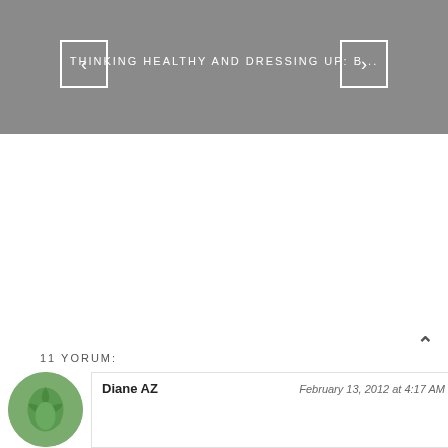[Figure (screenshot): Navigation banner with gray background showing text 'THINKING HEALTHY AND DRESSING UP: B...' with left and right arrow buttons in white bordered boxes]
11 YORUM:
[Figure (photo): Circular avatar image of a green succulent plant]
Diane AZ
February 13, 2012 at 4:17 AM